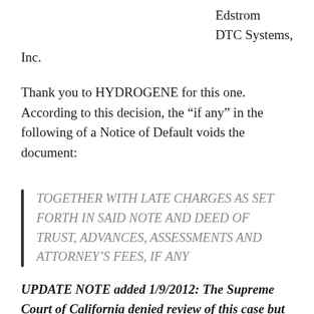Edstrom
DTC Systems, Inc.
Thank you to HYDROGENE for this one.  According to this decision, the “if any” in the following of a Notice of Default voids the document:
TOGETHER WITH LATE CHARGES AS SET FORTH IN SAID NOTE AND DEED OF TRUST, ADVANCES, ASSESSMENTS AND ATTORNEY’S FEES, IF ANY
UPDATE NOTE added 1/9/2012: The Supreme Court of California denied review of this case but